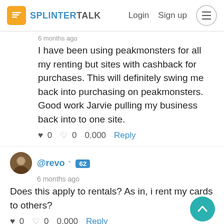SPLINTERTALK — Login  Sign up
6 months ago
I have been using peakmonsters for all my renting but sites with cashback for purchases. This will definitely swing me back into purchasing on peakmonsters. Good work Jarvie pulling my business back into to one site.
♥ 0  ♡ 0  0.000  Reply
@revo ▾ 62
6 months ago
Does this apply to rentals? As in, i rent my cards to others?
♥ 0  ♡ 0  0.000  Reply
@asgarth ▾ 63